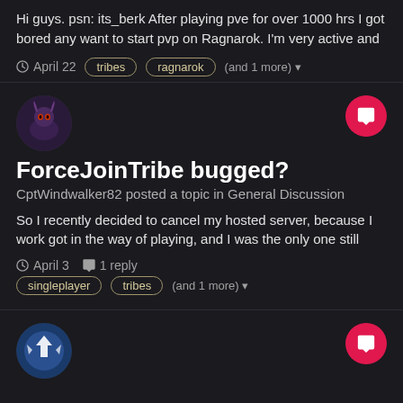Hi guys. psn: its_berk After playing pve for over 1000 hrs I got bored any want to start pvp on Ragnarok. I'm very active and
April 22  tribes  ragnarok  (and 1 more)
[Figure (illustration): User avatar icon with purple/dark fantasy character]
ForceJoinTribe bugged?
CptWindwalker82 posted a topic in General Discussion
So I recently decided to cancel my hosted server, because I work got in the way of playing, and I was the only one still
April 3  1 reply  singleplayer  tribes  (and 1 more)
[Figure (illustration): User avatar with blue circle and wing/arrow design]